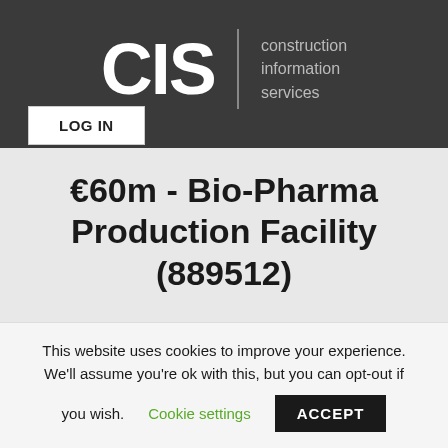[Figure (logo): CIS Construction Information Services logo on dark grey background]
LOG IN
€60m - Bio-Pharma Production Facility (889512)
| Project |  |
| --- | --- |
This website uses cookies to improve your experience. We'll assume you're ok with this, but you can opt-out if you wish.
Cookie settings
ACCEPT